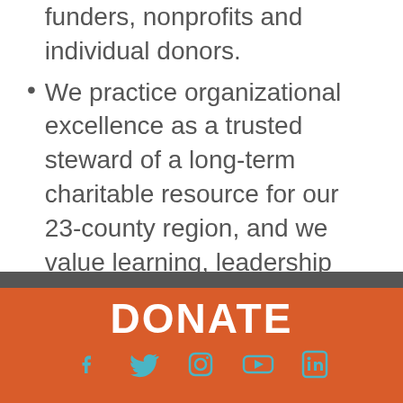funders, nonprofits and individual donors.
We practice organizational excellence as a trusted steward of a long-term charitable resource for our 23-county region, and we value learning, leadership and transparency.
For more information, visit
http://cfgreateratlanta.org/
DONATE